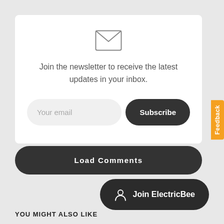[Figure (illustration): Envelope/mail icon (outline style) centered above newsletter text]
Join the newsletter to receive the latest updates in your inbox.
Your email
Subscribe
Feedback
Load Comments
Join ElectricBee
YOU MIGHT ALSO LIKE